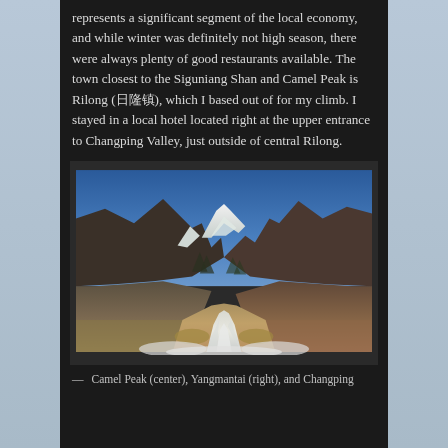represents a significant segment of the local economy, and while winter was definitely not high season, there were always plenty of good restaurants available. The town closest to the Siguniang Shan and Camel Peak is Rilong (日隆镇), which I based out of for my climb. I stayed in a local hotel located right at the upper entrance to Changping Valley, just outside of central Rilong.
[Figure (photo): Mountain valley landscape with snow-capped peaks in the background (Camel Peak center, Yangmantai right), a frozen or snow-covered river running through a golden brown meadow, rocky hillsides on both sides, and a deep blue sky. This is Changping Valley.]
— Camel Peak (center), Yangmantai (right), and Changping